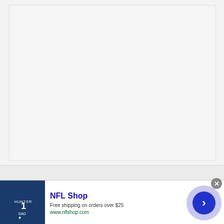[Figure (screenshot): Top gray content placeholder area]
[Figure (logo): Top Restaurant Prices logo with orange TOP label, gold stars, teal Restaurant text, and gray PRICES text]
TOP RESTAURANT PRICES
PRIVACY POLICY
[Figure (screenshot): NFL Shop advertisement banner showing a Dallas Cowboys jersey, NFL Shop text, Free shipping on orders over $25, www.nflshop.com, with a blue arrow CTA button]